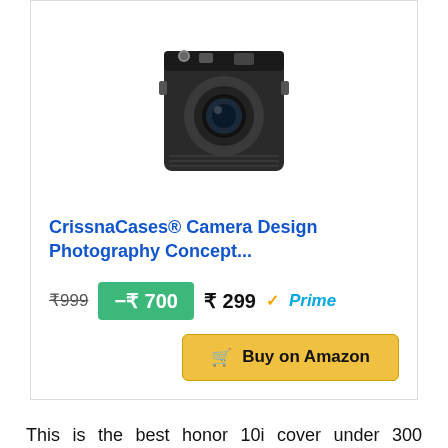[Figure (photo): Camera product image showing a black retro-style camera]
CrissnaCases® Camera Design Photography Concept...
₹999  −₹700  ₹299 ✓Prime  Buy on Amazon
This is the best honor 10i cover under 300 available in the market presently. It will provide you with all the features and the aspects that you would ever want out of a honor 10i cover under 300. We hope that we have made your choice easy with our personal